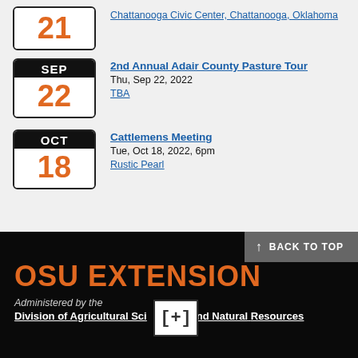21 - Chattanooga Civic Center, Chattanooga, Oklahoma
2nd Annual Adair County Pasture Tour
Thu, Sep 22, 2022
TBA
Cattlemens Meeting
Tue, Oct 18, 2022, 6pm
Rustic Pearl
BACK TO TOP
OSU EXTENSION
Administered by the
Division of Agricultural Sciences and Natural Resources